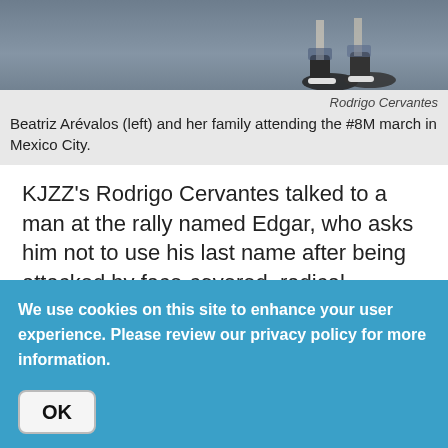[Figure (photo): Photograph of feet/shoes on a street surface, likely from the #8M march in Mexico City.]
Rodrigo Cervantes
Beatriz Arévalos (left) and her family attending the #8M march in Mexico City.
KJZZ's Rodrigo Cervantes talked to a man at the rally named Edgar, who asks him not to use his last name after being attacked by face-covered, radical feminists.
Edgar told him they suddenly paint-sprayed him after they saw him videoing them breaking a door. As they
We use cookies on this site to enhance your user experience. Please review our privacy policy for more information.
OK